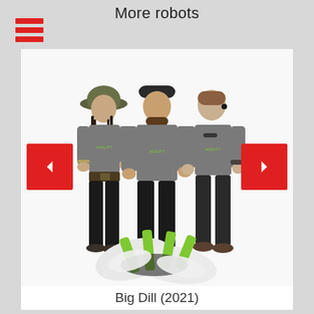More robots
[Figure (photo): Three people wearing gray t-shirts standing together with a green and white robot (Big Dill) at their feet. The team is photographed against a white background.]
Big Dill (2021)